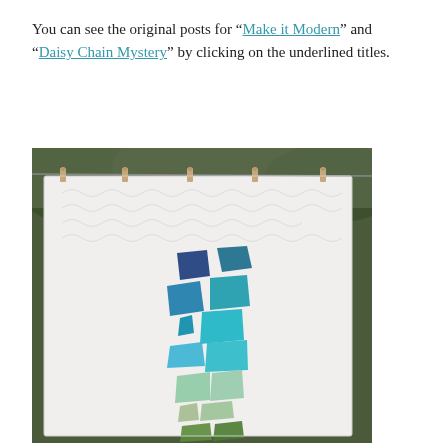You can see the original posts for “Make it Modern” and “Daisy Chain Mystery” by clicking on the underlined titles.
[Figure (photo): A white quilt with swirling quilting patterns and a central design of blue and green geometric fabric pieces arranged vertically like a stylized flower or plant, hanging on a clothesline with wooden clothespins against a background of trees.]